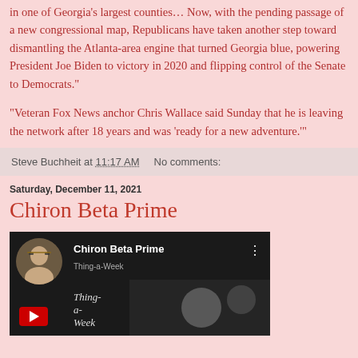in one of Georgia's largest counties… Now, with the pending passage of a new congressional map, Republicans have taken another step toward dismantling the Atlanta-area engine that turned Georgia blue, powering President Joe Biden to victory in 2020 and flipping control of the Senate to Democrats."
"Veteran Fox News anchor Chris Wallace said Sunday that he is leaving the network after 18 years and was 'ready for a new adventure.'"
Steve Buchheit at 11:17 AM   No comments:
Saturday, December 11, 2021
Chiron Beta Prime
[Figure (screenshot): YouTube video thumbnail for 'Chiron Beta Prime' showing a man with glasses on the left side avatar, dark background with another figure visible, and a YouTube play button]